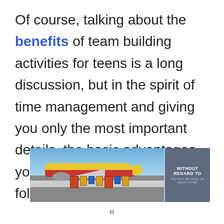Of course, talking about the benefits of team building activities for teens is a long discussion, but in the spirit of time management and giving you only the most important details, the basic advantages you have to remember are the following:
[Figure (photo): Advertisement banner showing a cargo airplane being loaded on a tarmac, with the text 'WITHOUT REGARD TO' and smaller subtitle text on a dark panel overlay on the right side.]